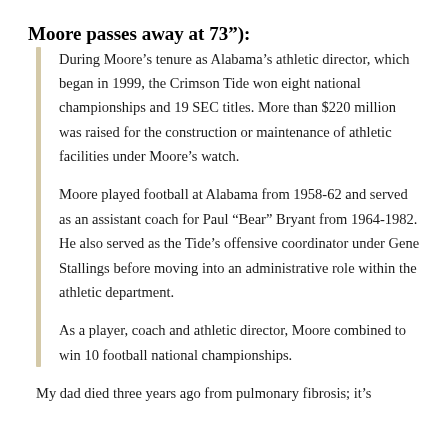Moore passes away at 73"):
During Moore’s tenure as Alabama’s athletic director, which began in 1999, the Crimson Tide won eight national championships and 19 SEC titles. More than $220 million was raised for the construction or maintenance of athletic facilities under Moore’s watch.
Moore played football at Alabama from 1958-62 and served as an assistant coach for Paul “Bear” Bryant from 1964-1982. He also served as the Tide’s offensive coordinator under Gene Stallings before moving into an administrative role within the athletic department.
As a player, coach and athletic director, Moore combined to win 10 football national championships.
My dad died three years ago from pulmonary fibrosis; it’s